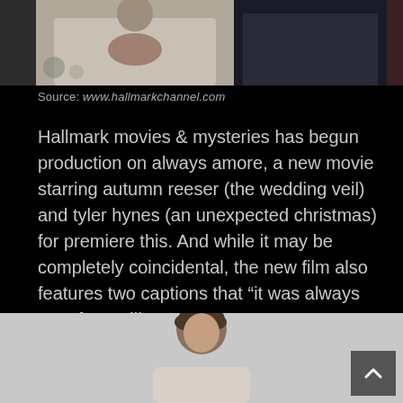[Figure (photo): Top portion of a photo showing two people, one in a light cream sweater and one in a dark suit, partially cropped at the top of the page.]
Source: www.hallmarkchannel.com
Hallmark movies & mysteries has begun production on always amore, a new movie starring autumn reeser (the wedding veil) and tyler hynes (an unexpected christmas) for premiere this. And while it may be completely coincidental, the new film also features two captions that “it was always you” fans will.
[Figure (photo): Bottom photo showing a man with dark hair against a light gray background, cropped at the bottom of the page. A scroll-to-top button is overlaid in the bottom right corner.]